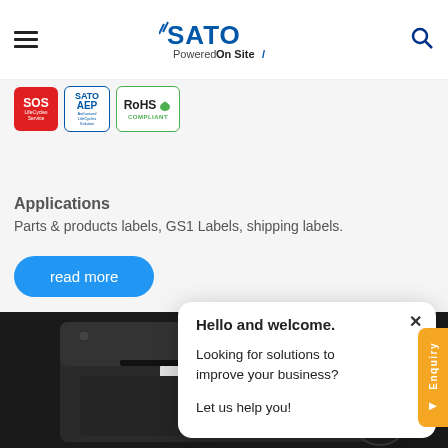[Figure (logo): SATO Powered On Site logo in the header, with hamburger menu icon and search icon]
[Figure (logo): Three certification badges: SOS (red), SATO AEP (blue border), RoHS Compliant (green border)]
Applications
Parts & products labels, GS1 Labels, shipping labels.
read more
Hello and welcome.

Looking for solutions to improve your business?

Let us help you!
[Figure (photo): SATO industrial label printer (dark/black) shown in the bottom portion of the page]